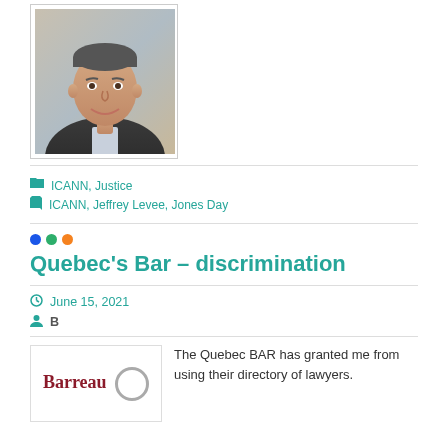[Figure (photo): Headshot of a middle-aged man in a dark suit, smiling, with a blurred office background.]
ICANN, Justice
ICANN, Jeffrey Levee, Jones Day
Quebec's Bar – discrimination
June 15, 2021
B
[Figure (logo): Barreau logo with dark red serif text and a circular emblem]
The Quebec BAR has granted me from using their directory of lawyers.